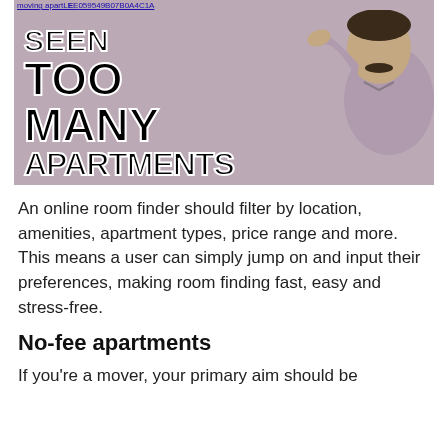[Figure (photo): Meme image of a man with a mustache saluting/shading his eyes, with bold meme text reading 'SEEN TOO MANY APARTMENTS' overlaid on the left side. A URL link appears at the top: moving apartments... [URL text partially visible]]
An online room finder should filter by location, amenities, apartment types, price range and more. This means a user can simply jump on and input their preferences, making room finding fast, easy and stress-free.
No-fee apartments
If you're a mover, your primary aim should be